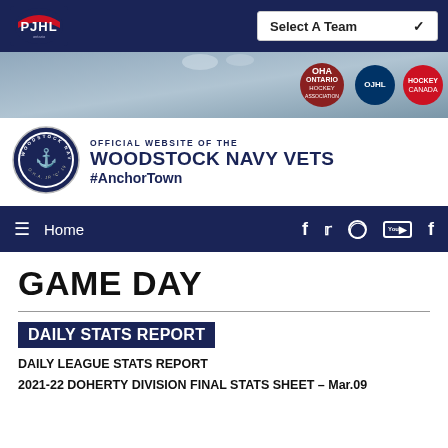[Figure (logo): PJHL logo in top navigation bar, white and red on dark navy background]
Select A Team
[Figure (photo): Hockey arena banner background with OHA, OJHL, and Hockey Canada logos on right side]
[Figure (logo): Woodstock Navy Vets team crest circular logo, navy and white, OHA JR C 1966]
OFFICIAL WEBSITE OF THE
WOODSTOCK NAVY VETS
#AnchorTown
Home
GAME DAY
DAILY STATS REPORT
DAILY LEAGUE STATS REPORT
2021-22 DOHERTY DIVISION FINAL STATS SHEET – Mar.09